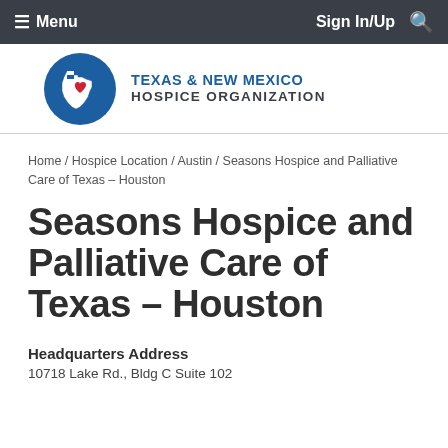☰ Menu   Sign In/Up 🔍
[Figure (logo): Texas & New Mexico Hospice Organization logo — blue circle with white Texas state outline and red heart, beside bold text 'TEXAS & NEW MEXICO HOSPICE ORGANIZATION']
Home / Hospice Location / Austin / Seasons Hospice and Palliative Care of Texas – Houston
Seasons Hospice and Palliative Care of Texas – Houston
Headquarters Address
10718 Lake Rd., Bldg C Suite 102